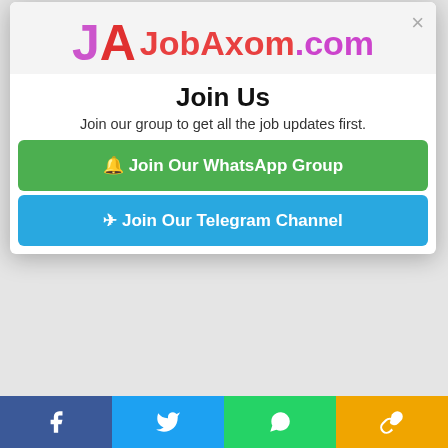[Figure (logo): JobAxom.com logo with JA monogram in purple and red]
Join Us
Join our group to get all the job updates first.
🔔 Join Our WhatsApp Group
✈ Join Our Telegram Channel
2 Indian Navy SSC Officer Recruitment Details
3 How to Apply for Indian Navy SSC Officer Recruitment
4 Important Date of Indian Navy SSC Officer Recruitment
5 Important WebLinks of Indian Navy SSC Officer Recruitment
Job Description
Indian Navy SSC Officer Recruitment 2021: Indian Navy SSC Officer Recruitment has released notification for the recruitment...